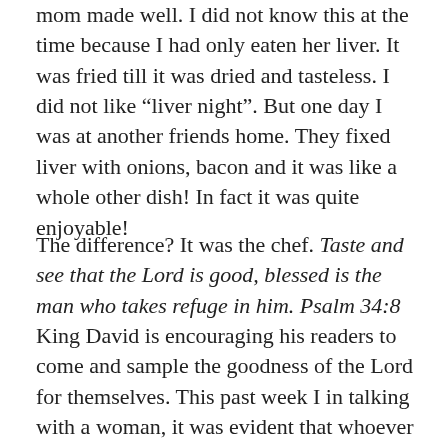mom made well. I did not know this at the time because I had only eaten her liver. It was fried till it was dried and tasteless. I did not like “liver night”. But one day I was at another friends home. They fixed liver with onions, bacon and it was like a whole other dish! In fact it was quite enjoyable!
The difference? It was the chef. Taste and see that the Lord is good, blessed is the man who takes refuge in him. Psalm 34:8 King David is encouraging his readers to come and sample the goodness of the Lord for themselves. This past week I in talking with a woman, it was evident that whoever had first introduced her to “religion” had not been a very good chef. The taste she had of the Lord was influenced by rules, regulations, ought’s and don’ts. It’s impression was so strong that she is